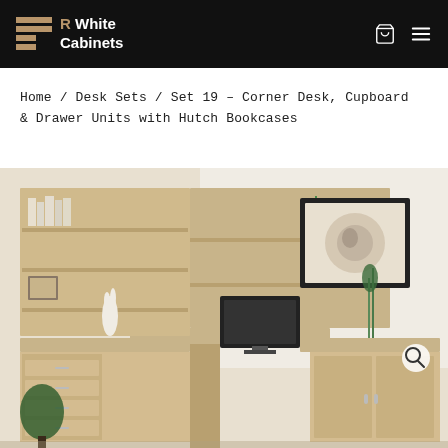R White Cabinets
Home / Desk Sets / Set 19 – Corner Desk, Cupboard & Drawer Units with Hutch Bookcases
[Figure (photo): Product photo of a corner desk set with hutch bookcases, cupboard and drawer units in light wood finish. The desk has a monitor, books, and decorative items on it. A framed artwork is visible on the wall.]